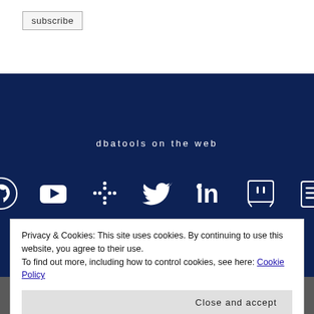subscribe
dbatools on the web
[Figure (infographic): Row of 7 social media/platform icons (GitHub, YouTube, Slack, Twitter, LinkedIn, Twitch, book/newsletter) on dark navy background]
Privacy & Cookies: This site uses cookies. By continuing to use this website, you agree to their use.
To find out more, including how to control cookies, see here: Cookie Policy
Close and accept